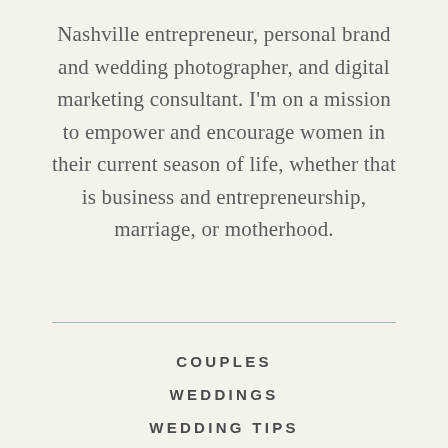Nashville entrepreneur, personal brand and wedding photographer, and digital marketing consultant. I'm on a mission to empower and encourage women in their current season of life, whether that is business and entrepreneurship, marriage, or motherhood.
COUPLES
WEDDINGS
WEDDING TIPS